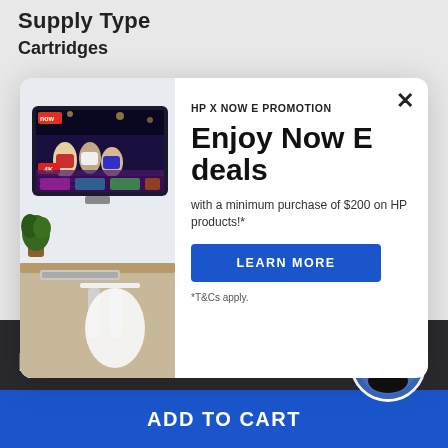Supply Type
Cartridges
[Figure (screenshot): HP promotion modal popup with an image of HP NOW E streaming service on a TV screen on the left, and on the right: 'HP X NOW E PROMOTION' label, 'Enjoy Now E deals' heading, description text 'with a minimum purchase of $200 on HP products!*', a blue 'LEARN MORE' button, and '*T&Cs apply.' footnote. An X close button is in the top right.]
HK$2,183.00
ADD TO CART